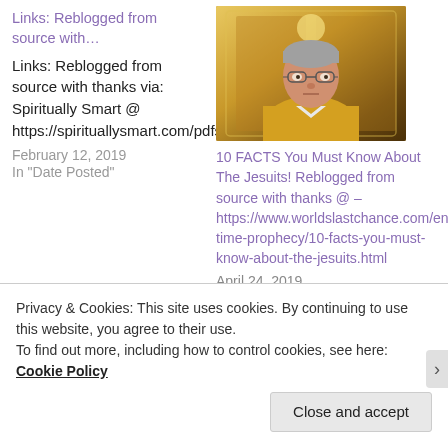Links: Reblogged from source with…
Links: Reblogged from source with thanks via: Spiritually Smart @ https://spirituallysmart.com/pdfs.html
February 12, 2019
In "Date Posted"
[Figure (photo): Portrait photo of an older man wearing glasses and a yellow/gold religious vestment, in front of ornate gold background]
10 FACTS You Must Know About The Jesuits! Reblogged from source with thanks @ – https://www.worldslastchance.com/end-time-prophecy/10-facts-you-must-know-about-the-jesuits.html
April 24, 2019
In "Posts_ By Date Posted"
Privacy & Cookies: This site uses cookies. By continuing to use this website, you agree to their use.
To find out more, including how to control cookies, see here: Cookie Policy
Close and accept